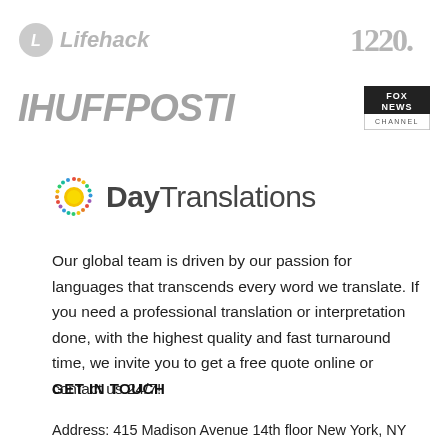[Figure (logo): Lifehack logo (partial) and 120. logo in top row]
[Figure (logo): HuffPost logo (left) and Fox News logo box (right)]
[Figure (logo): Day Translations sun icon logo with brand name]
Our global team is driven by our passion for languages that transcends every word we translate. If you need a professional translation or interpretation done, with the highest quality and fast turnaround time, we invite you to get a free quote online or contact us 24/7!
GET IN TOUCH
Address: 415 Madison Avenue 14th floor New York, NY